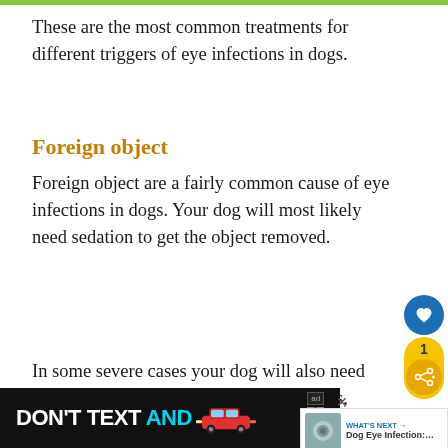These are the most common treatments for different triggers of eye infections in dogs.
Foreign object
Foreign object are a fairly common cause of eye infections in dogs. Your dog will most likely need sedation to get the object removed.
In some severe cases your dog will also need surgery. Your vet may also pr... eye drops, antibiotics or both after their
[Figure (other): Social sharing sidebar with heart/like button (blue circle with heart icon) and share count of 1 with yellow share button]
[Figure (other): What's Next widget showing Dog Eye Infection article preview with thumbnail]
[Figure (other): Ad banner: DON'T TEXT AND [car image] with NHTSA branding]